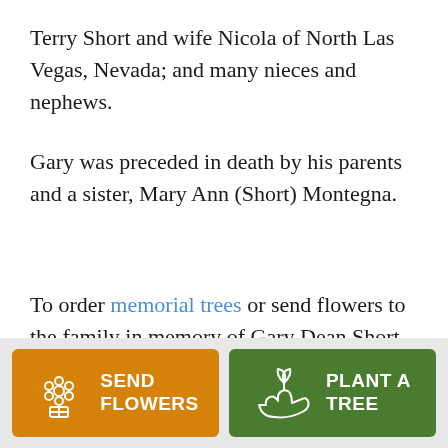Terry Short and wife Nicola of North Las Vegas, Nevada; and many nieces and nephews.
Gary was preceded in death by his parents and a sister, Mary Ann (Short) Montegna.
To order memorial trees or send flowers to the family in memory of Gary Dean Short, please visit our flower store.
[Figure (infographic): Two call-to-action buttons: orange 'SEND FLOWERS' button with flower bouquet icon, and green 'PLANT A TREE' button with plant/hand icon.]